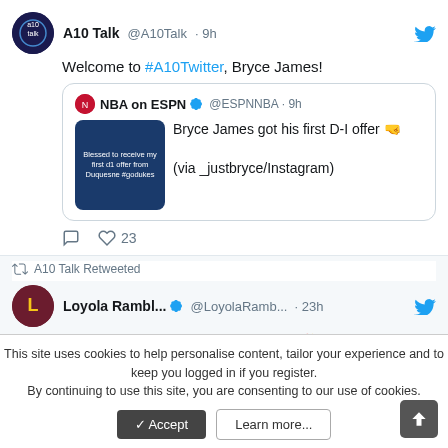[Figure (screenshot): Twitter/social media feed screenshot showing tweets from A10 Talk and Loyola Ramblers with a cookie consent banner at the bottom]
A10 Talk @A10Talk · 9h — Welcome to #A10Twitter, Bryce James!
NBA on ESPN @ESPNNBA · 9h — Bryce James got his first D-I offer 🤜 (via _justbryce/Instagram)
23 likes
A10 Talk Retweeted
Loyola Rambl... @LoyolaRamb... · 23h — Happy 103rd Birthday, Sister Jean! 🎉
#SisterJean103
This site uses cookies to help personalise content, tailor your experience and to keep you logged in if you register.
By continuing to use this site, you are consenting to our use of cookies.